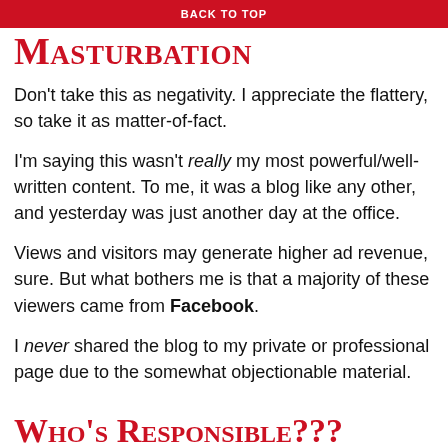BACK TO TOP
Masturbation
Don't take this as negativity. I appreciate the flattery, so take it as matter-of-fact.
I'm saying this wasn't really my most powerful/well-written content. To me, it was a blog like any other, and yesterday was just another day at the office.
Views and visitors may generate higher ad revenue, sure. But what bothers me is that a majority of these viewers came from Facebook.
I never shared the blog to my private or professional page due to the somewhat objectionable material.
Who's Responsible???